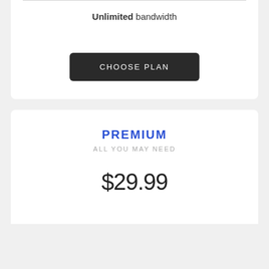Unlimited bandwidth
CHOOSE PLAN
PREMIUM
ALL YOU MAY NEED
$29.99